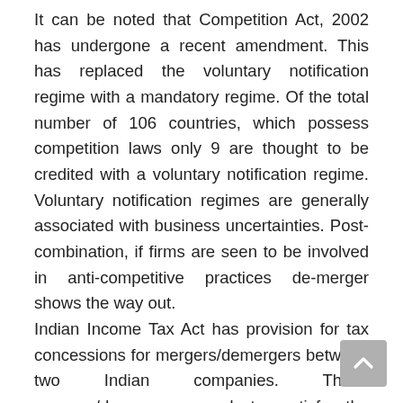It can be noted that Competition Act, 2002 has undergone a recent amendment. This has replaced the voluntary notification regime with a mandatory regime. Of the total number of 106 countries, which possess competition laws only 9 are thought to be credited with a voluntary notification regime. Voluntary notification regimes are generally associated with business uncertainties. Post-combination, if firms are seen to be involved in anti-competitive practices de-merger shows the way out.
Indian Income Tax Act has provision for tax concessions for mergers/demergers between two Indian companies. These mergers/demergers need to satisfy the conditions pertaining to section 2(19AA) and section 2(1B) of the Indian Income Tax Act as per the applicable situation.
In case of an Indian merger when transfer of shares occurs for a company they are entitled to a specific exemption from the capital gains tax under the "Indian I